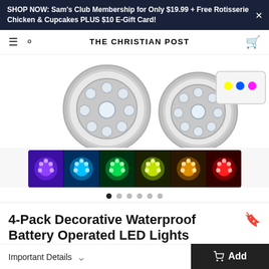SHOP NOW: Sam's Club Membership for Only $19.99 + Free Rotisserie Chicken & Cupcakes PLUS $10 E-Gift Card!
THE CHRISTIAN POST
[Figure (photo): Two silver round LED submersible lights with multiple LED diodes visible, plus a color strip showing the same light glowing in purple, cyan, green, yellow-green, amber/orange, and red]
4-Pack Decorative Waterproof Battery Operated LED Lights
Important Details
Add